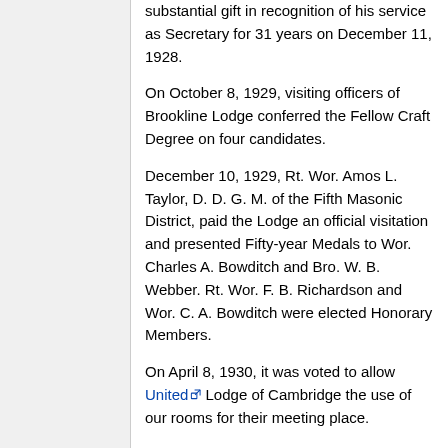substantial gift in recognition of his service as Secretary for 31 years on December 11, 1928.
On October 8, 1929, visiting officers of Brookline Lodge conferred the Fellow Craft Degree on four candidates.
December 10, 1929, Rt. Wor. Amos L. Taylor, D. D. G. M. of the Fifth Masonic District, paid the Lodge an official visitation and presented Fifty-year Medals to Wor. Charles A. Bowditch and Bro. W. B. Webber. Rt. Wor. F. B. Richardson and Wor. C. A. Bowditch were elected Honorary Members.
On April 8, 1930, it was voted to allow United Lodge of Cambridge the use of our rooms for their meeting place.
On November 11, 1930, Most Wor. Herbert W. Dean and the Officers of the Most Wor. Grand Lodge of Massachusetts paid Beth-horon a fraternal visitation. An escort committee was formed with Most Worshipful Leon M. Abbott as Chairman. Most Wor. Bro. Abbott reviewed the History of ecth-horon Lodge. Rt. Wor. Frederick